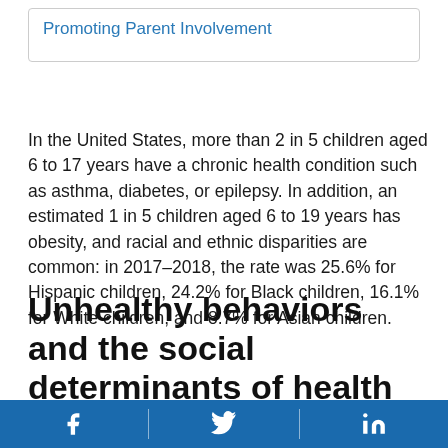Promoting Parent Involvement
In the United States, more than 2 in 5 children aged 6 to 17 years have a chronic health condition such as asthma, diabetes, or epilepsy. In addition, an estimated 1 in 5 children aged 6 to 19 years has obesity, and racial and ethnic disparities are common: in 2017–2018, the rate was 25.6% for Hispanic children, 24.2% for Black children, 16.1% for White children, and 8.7% for Asian children.
Unhealthy behaviors and the social determinants of health
Poor nutrition and physical inactivity are more common in children from families lower in
Social media icons: Facebook, Twitter, LinkedIn